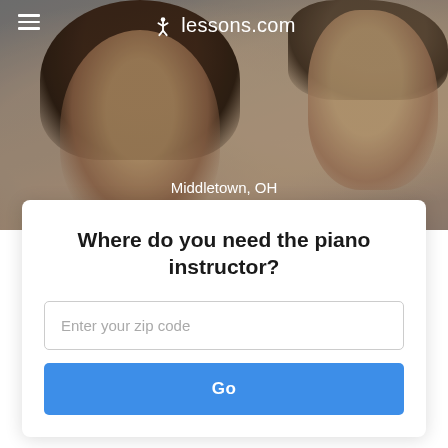[Figure (photo): Hero background photo showing two young people (a girl with dark hair and a boy) looking down together, with a lessons.com navigation bar overlay]
≡  ✦ lessons.com
Middletown, OH
56 Piano Instructors near you
Where do you need the piano instructor?
Enter your zip code
Go